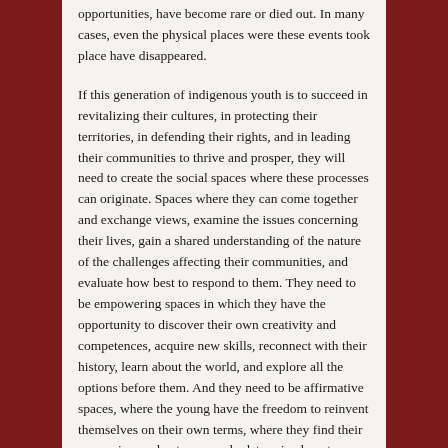opportunities, have become rare or died out. In many cases, even the physical places were these events took place have disappeared.
If this generation of indigenous youth is to succeed in revitalizing their cultures, in protecting their territories, in defending their rights, and in leading their communities to thrive and prosper, they will need to create the social spaces where these processes can originate. Spaces where they can come together and exchange views, examine the issues concerning their lives, gain a shared understanding of the nature of the challenges affecting their communities, and evaluate how best to respond to them. They need to be empowering spaces in which they have the opportunity to discover their own creativity and competences, acquire new skills, reconnect with their history, learn about the world, and explore all the options before them. And they need to be affirmative spaces, where the young have the freedom to reinvent themselves on their own terms, where they find their own voice, and autonomously determine how to interact with the larger world: what to take from it and what to reject, while at the same time advancing their own unique contributions to it. No longer casualties of change, but the drivers of self-